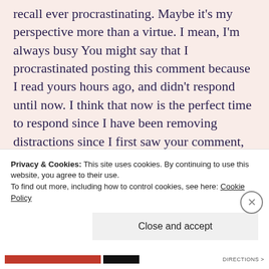recall ever procrastinating. Maybe it's my perspective more than a virtue. I mean, I'm always busy You might say that I procrastinated posting this comment because I read yours hours ago, and didn't respond until now. I think that now is the perfect time to respond since I have been removing distractions since I first saw your comment, and can now focus on responding in a thoughtful way.
I hope you are being kind with yourself, and
Privacy & Cookies: This site uses cookies. By continuing to use this website, you agree to their use.
To find out more, including how to control cookies, see here: Cookie Policy
Close and accept